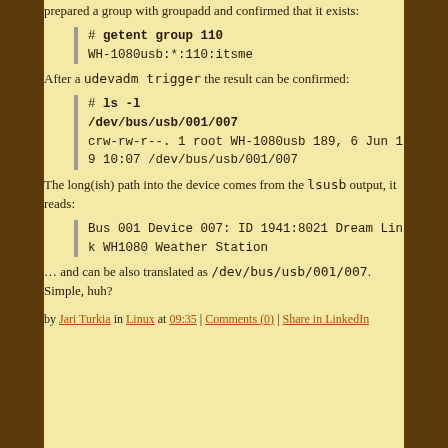prepared a group with groupadd and confirmed that it exists:
# getent group 110
WH-1080usb:*:110:itsme
After a udevadm trigger the result can be confirmed:
# ls -l /dev/bus/usb/001/007
crw-rw-r--. 1 root WH-1080usb 189, 6 Jun 19 10:07 /dev/bus/usb/001/007
The long(ish) path into the device comes from the lsusb output, it reads:
Bus 001 Device 007: ID 1941:8021 Dream Link WH1080 Weather Station
... and can be also translated as /dev/bus/usb/001/007. Simple, huh?
by Jari Turkia in Linux at 09:35 | Comments (0) | Share in LinkedIn